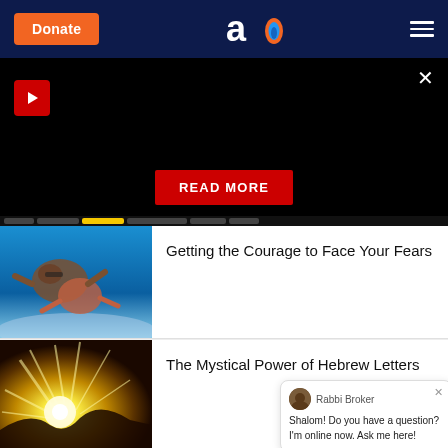Donate | Aish.com logo | Menu
[Figure (screenshot): Dark hero/promo banner with play button, READ MORE button, and navigation strip at bottom]
[Figure (photo): Two people skydiving against a blue sky, aerial view]
Getting the Courage to Face Your Fears
[Figure (photo): Bright light burst / spiritual light rays on dark golden background]
The Mystical Power of Hebrew Letters
Rabbi Broker
Shalom! Do you have a question? I'm online now. Ask me here!